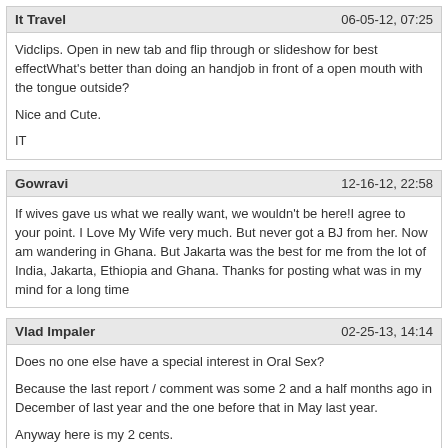It Travel — 06-05-12, 07:25
Vidclips. Open in new tab and flip through or slideshow for best effectWhat's better than doing an handjob in front of a open mouth with the tongue outside?

Nice and Cute.

IT
Gowravi — 12-16-12, 22:58
If wives gave us what we really want, we wouldn't be here!I agree to your point. I Love My Wife very much. But never got a BJ from her. Now am wandering in Ghana. But Jakarta was the best for me from the lot of India, Jakarta, Ethiopia and Ghana. Thanks for posting what was in my mind for a long time
Vlad Impaler — 02-25-13, 14:14
Does no one else have a special interest in Oral Sex?

Because the last report / comment was some 2 and a half months ago in December of last year and the one before that in May last year.

Anyway here is my 2 cents.

Love the BBBJ CIM then swallow or hold then sometime later spit.

Was in Bali last year and had negioiated a 2 hour $35 dollar Full BJ.

Just as I was building up a full head of steam, she stopped and asked for an extra $5.

I said of course and she finished an excellent performance

I was smiling because I liked and was expecting that last minute "blackmail"